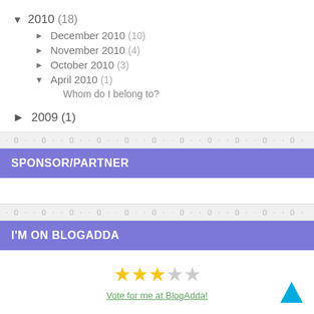▼ 2010 (18)
► December 2010 (10)
► November 2010 (4)
► October 2010 (3)
▼ April 2010 (1)
Whom do I belong to?
► 2009 (1)
SPONSOR/PARTNER
I'M ON BLOGADDA
Vote for me at BlogAdda!